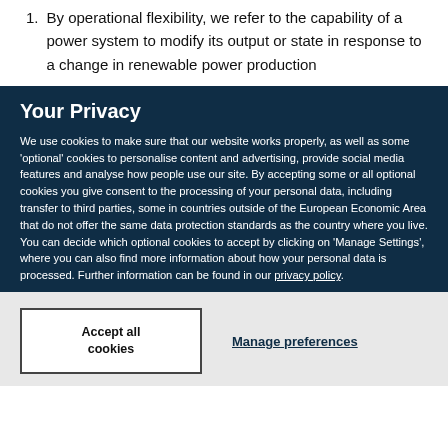1. By operational flexibility, we refer to the capability of a power system to modify its output or state in response to a change in renewable power production
Your Privacy
We use cookies to make sure that our website works properly, as well as some ‘optional’ cookies to personalise content and advertising, provide social media features and analyse how people use our site. By accepting some or all optional cookies you give consent to the processing of your personal data, including transfer to third parties, some in countries outside of the European Economic Area that do not offer the same data protection standards as the country where you live. You can decide which optional cookies to accept by clicking on ‘Manage Settings’, where you can also find more information about how your personal data is processed. Further information can be found in our privacy policy.
Accept all cookies
Manage preferences